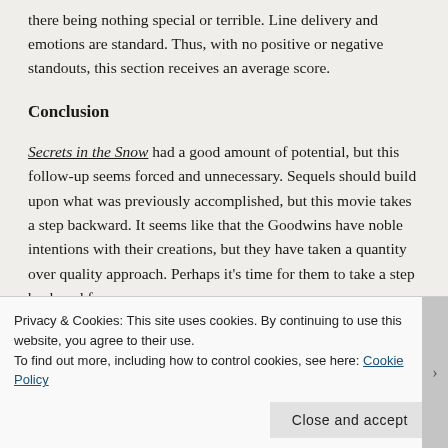there being nothing special or terrible. Line delivery and emotions are standard. Thus, with no positive or negative standouts, this section receives an average score.
Conclusion
Secrets in the Snow had a good amount of potential, but this follow-up seems forced and unnecessary. Sequels should build upon what was previously accomplished, but this movie takes a step backward. It seems like that the Goodwins have noble intentions with their creations, but they have taken a quantity over quality approach. Perhaps it’s time for them to take a step back and focus on producing fewer accomplishments that contain more meaning
Privacy & Cookies: This site uses cookies. By continuing to use this website, you agree to their use. To find out more, including how to control cookies, see here: Cookie Policy
Close and accept